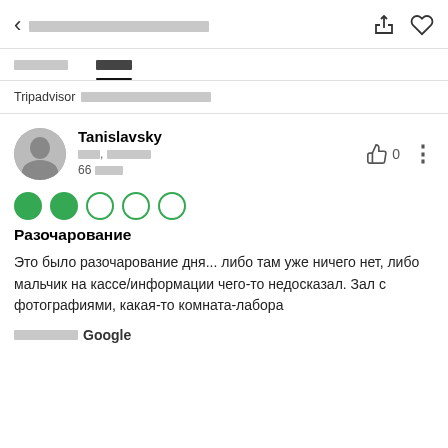< [redacted] [share] [heart]
Обзоры   Фото (tab bar, Фото active)
Tripadvisor [redacted]
Tanislavsky
[redacted], [redacted]
66 [redacted]
[Figure (other): 2 out of 5 green dot rating (2 filled, 3 empty circles)]
Разочарование
Это было разочарование дня... либо там уже ничего нет, либо мальчик на кассе/информации чего-то недосказал. Зал с фотографиями, какая-то комната-лабора
[redacted] Google